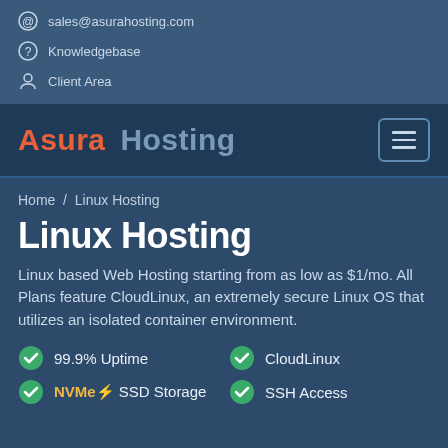sales@asurahosting.com
Knowledgebase
Client Area
Asura Hosting
Home / Linux Hosting
Linux Hosting
Linux based Web Hosting starting from as low as $1/mo. All Plans feature CloudLinux, an extremely secure Linux OS that utilizes an isolated container environment.
99.9% Uptime
CloudLinux
NVMe⚡ SSD Storage
SSH Access